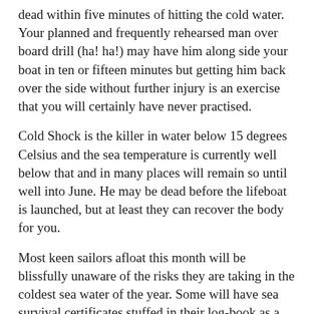dead within five minutes of hitting the cold water. Your planned and frequently rehearsed man over board drill (ha! ha!) may have him along side your boat in ten or fifteen minutes but getting him back over the side without further injury is an exercise that you will certainly have never practised.
Cold Shock is the killer in water below 15 degrees Celsius and the sea temperature is currently well below that and in many places will remain so until well into June. He may be dead before the lifeboat is launched, but at least they can recover the body for you.
Most keen sailors afloat this month will be blissfully unaware of the risks they are taking in the coldest sea water of the year. Some will have sea survival certificates stuffed in their log-book as a good luck charm but the best selling RYA sea survival manual devotes few words to Cold Shock.
Cold Shock is about gasping, panicking and  hyperventilation,